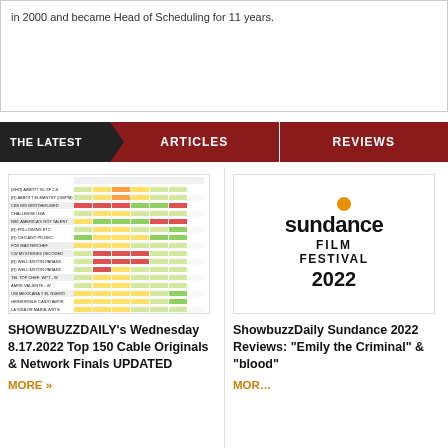in 2000 and became Head of Scheduling for 11 years.
THE LATEST   ARTICLES   REVIEWS
[Figure (table-as-image): Color-coded TV ratings table with network show data]
SHOWBUZZDAILY's Wednesday 8.17.2022 Top 150 Cable Originals & Network Finals UPDATED
MORE »
[Figure (logo): Sundance Film Festival 2022 logo with orange dot]
ShowbuzzDaily Sundance 2022 Reviews: "Emily the Criminal" & "blood"
MORE »